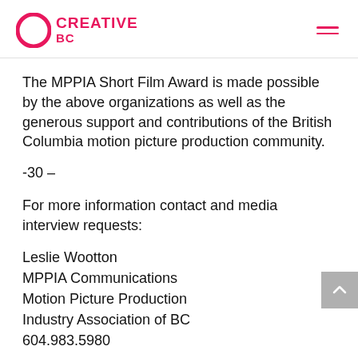Creative BC
The MPPIA Short Film Award is made possible by the above organizations as well as the generous support and contributions of the British Columbia motion picture production community.
-30 –
For more information contact and media interview requests:
Leslie Wootton
MPPIA Communications
Motion Picture Production
Industry Association of BC
604.983.5980